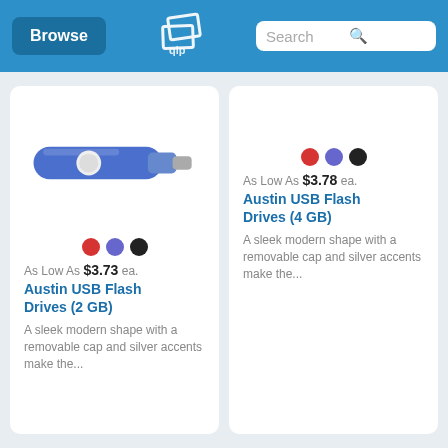Browse | [logo] | Search
[Figure (photo): Blue USB flash drive (2 GB) with white button and silver cap]
As Low As $3.73 ea.
Austin USB Flash Drives (2 GB)
A sleek modern shape with a removable cap and silver accents make the...
As Low As $3.78 ea.
Austin USB Flash Drives (4 GB)
A sleek modern shape with a removable cap and silver accents make the...